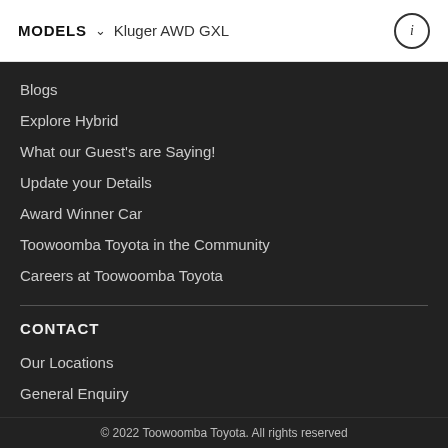MODELS  Kluger AWD GXL
Blogs
Explore Hybrid
What our Guest's are Saying!
Update your Details
Award Winner Car
Toowoomba Toyota in the Community
Careers at Toowoomba Toyota
CONTACT
Our Locations
General Enquiry
© 2022 Toowoomba Toyota. All rights reserved